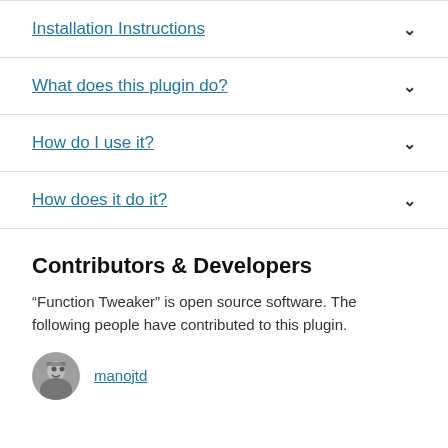Installation Instructions
What does this plugin do?
How do I use it?
How does it do it?
Contributors & Developers
“Function Tweaker” is open source software. The following people have contributed to this plugin.
manojtd